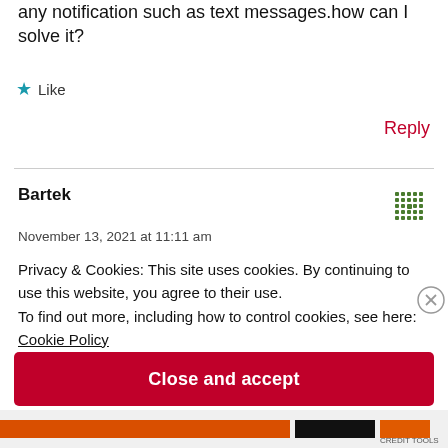any notification such as text messages.how can I solve it?
★ Like
Reply
Bartek
November 13, 2021 at 11:11 am
Privacy & Cookies: This site uses cookies. By continuing to use this website, you agree to their use.
To find out more, including how to control cookies, see here:
Cookie Policy
Close and accept